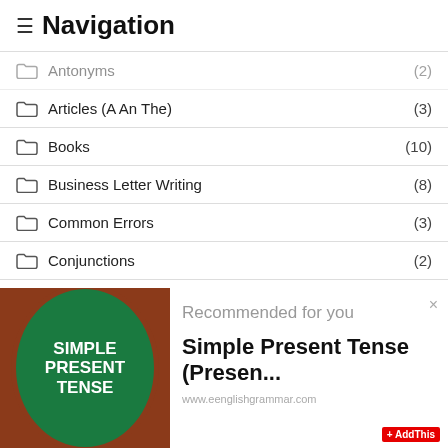≡ Navigation
Antonyms (2)
Articles (A An The) (3)
Books (10)
Business Letter Writing (8)
Common Errors (3)
Conjunctions (2)
Direct and Indirect Narration (10)
[Figure (illustration): Green oval with brown border on brown background showing text SIMPLE PRESENT TENSE in white bold letters. Beside it a white panel showing 'Recommended for you' and 'Simple Present Tense (Presen...' with AddThis button.]